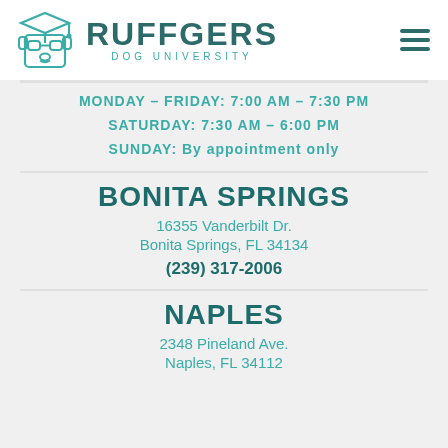[Figure (logo): Ruffgers Dog University logo with teal dog wearing graduation cap and glasses, with text RUFFGERS DOG UNIVERSITY]
MONDAY – FRIDAY: 7:00 AM – 7:30 PM
SATURDAY: 7:30 AM – 6:00 PM
SUNDAY: By appointment only
BONITA SPRINGS
16355 Vanderbilt Dr.
Bonita Springs, FL 34134
(239) 317-2006
NAPLES
2348 Pineland Ave.
Naples, FL 34112